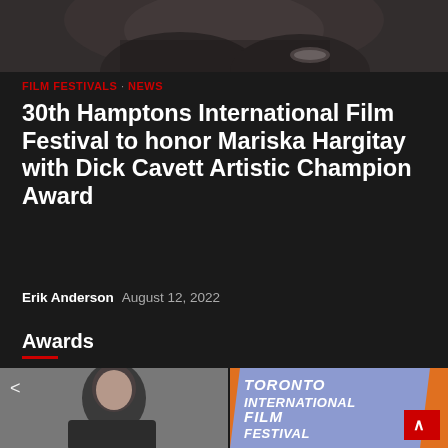[Figure (photo): Cropped top portion of a photo showing a woman from shoulders up, dark background]
FILM FESTIVALS · NEWS
30th Hamptons International Film Festival to honor Mariska Hargitay with Dick Cavett Artistic Champion Award
Erik Anderson  August 12, 2022
Awards
[Figure (photo): Portrait photo of a man in a dark sweater against a grey background, with a share icon overlay]
[Figure (photo): Toronto International Film Festival 2022 promotional image/poster with orange background and blue angled panel with white italic text]